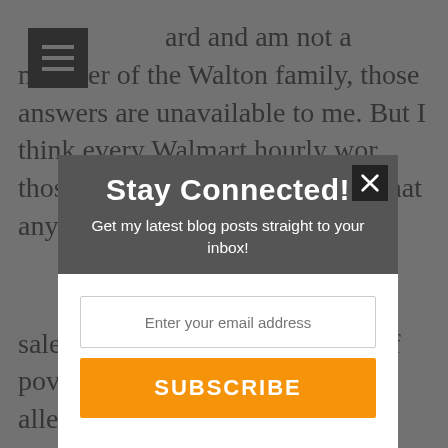ard and am not a member of the Walton family, those answers are unavailable to me. But I think every Walmart hourly wo those questions. Further, I think that any
[Figure (screenshot): Modal popup overlay with dark background. Header section is dark gray with title 'Stay Connected!' in white bold text and subtitle 'Get my latest blog posts straight to your inbox!' in white. Below is a white body with an email input field with placeholder 'Enter your email address', an orange SUBSCRIBE button, and privacy note 'Your information will never be shared'. A close (X) button is in the top right corner of the modal header.]
salespeople, stockers, etc. – out of poverty.  Of course if one's allegiance is